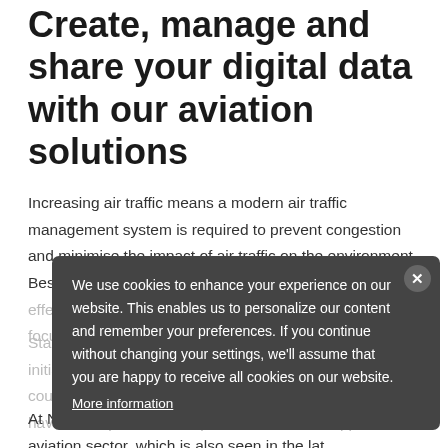Create, manage and share your digital data with our aviation solutions
Increasing air traffic means a modern air traffic management system is required to prevent congestion and minimise the impact of air traffic on the environment. Besides guaranteeing and increasing safety, flying cost-effectively is also becoming increasingly important. We focus on...
Standards are being developed by international initiatives, organisations, institutions and cooperating countries to manage airspace in an innovative way. We have a complete suite of products that can support this.
At NedGraphics, we have a lot of experience in the aviation sector, which is also seen in the latest...
[Figure (screenshot): Cookie consent overlay on a dark gray background with close button, showing text: 'We use cookies to enhance your experience on our website. This enables us to personalize our content and remember your preferences. If you continue without changing your settings, we'll assume that you are happy to receive all cookies on our website.' with a 'More information' underlined link.]